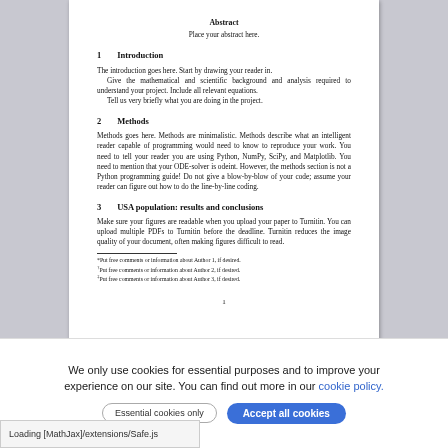Abstract
Place your abstract here.
1   Introduction
The introduction goes here. Start by drawing your reader in.
    Give the mathematical and scientific background and analysis required to understand your project. Include all relevant equations.
    Tell us very briefly what you are doing in the project.
2   Methods
Methods goes here. Methods are minimalistic. Methods describe what an intelligent reader capable of programming would need to know to reproduce your work. You need to tell your reader you are using Python, NumPy, SciPy, and Matplotlib. You need to mention that your ODE-solver is odeint. However, the methods section is not a Python programming guide! Do not give a blow-by-blow of your code; assume your reader can figure out how to do the line-by-line coding.
3   USA population: results and conclusions
Make sure your figures are readable when you upload your paper to Turnitin. You can upload multiple PDFs to Turnitin before the deadline. Turnitin reduces the image quality of your document, often making figures difficult to read.
*Put free comments or information about Author 1, if desired.
†Put free comments or information about Author 2, if desired.
‡Put free comments or information about Author 3, if desired.
1